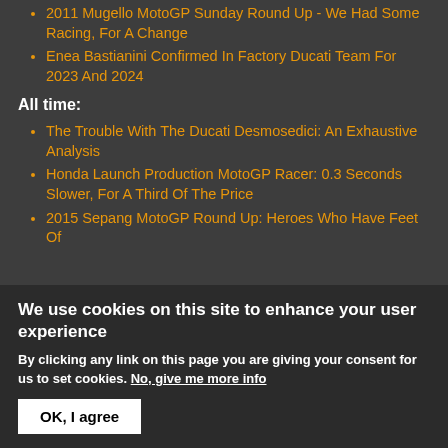2011 Mugello MotoGP Sunday Round Up - We Had Some Racing, For A Change
Enea Bastianini Confirmed In Factory Ducati Team For 2023 And 2024
All time:
The Trouble With The Ducati Desmosedici: An Exhaustive Analysis
Honda Launch Production MotoGP Racer: 0.3 Seconds Slower, For A Third Of The Price
2015 Sepang MotoGP Round Up: Heroes Who Have Feet Of
We use cookies on this site to enhance your user experience
By clicking any link on this page you are giving your consent for us to set cookies. No, give me more info
OK, I agree